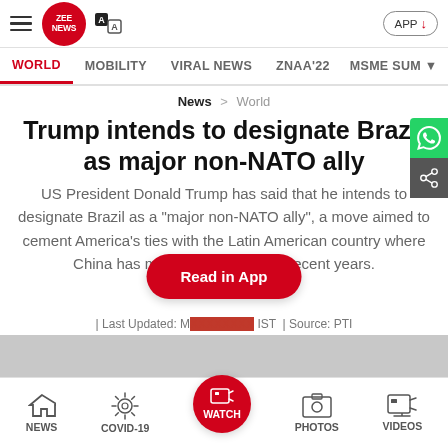ZEE NEWS — APP
WORLD  MOBILITY  VIRAL NEWS  ZNAA'22  MSME SUM
News > World
Trump intends to designate Brazil as major non-NATO ally
US President Donald Trump has said that he intends to designate Brazil as a "major non-NATO ally", a move aimed to cement America's ties with the Latin American country where China has made deep strides in recent years.
| Last Updated: [date] IST  | Source: PTI
NEWS  COVID-19  WATCH  PHOTOS  VIDEOS